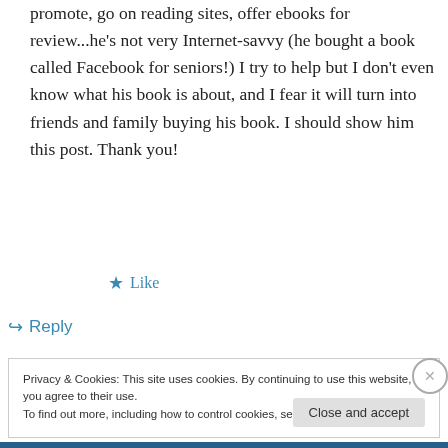promote, go on reading sites, offer ebooks for review...he's not very Internet-savvy (he bought a book called Facebook for seniors!) I try to help but I don't even know what his book is about, and I fear it will turn into friends and family buying his book. I should show him this post. Thank you!
★ Like
↪ Reply
Privacy & Cookies: This site uses cookies. By continuing to use this website, you agree to their use.
To find out more, including how to control cookies, see here: Cookie Policy
Close and accept